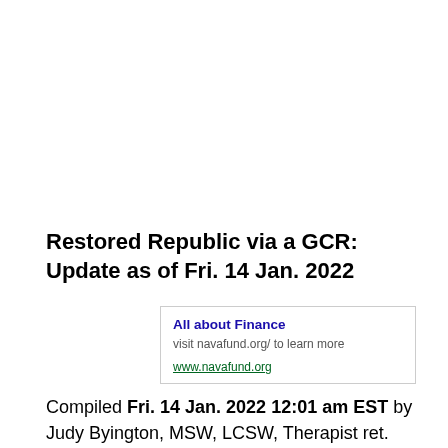Restored Republic via a GCR: Update as of Fri. 14 Jan. 2022
[Figure (other): Advertisement box with heading 'All about Finance', description 'visit navafund.org/ to learn more', and URL 'www.navafund.org']
Compiled Fri. 14 Jan. 2022 12:01 am EST by Judy Byington, MSW, LCSW, Therapist ret.